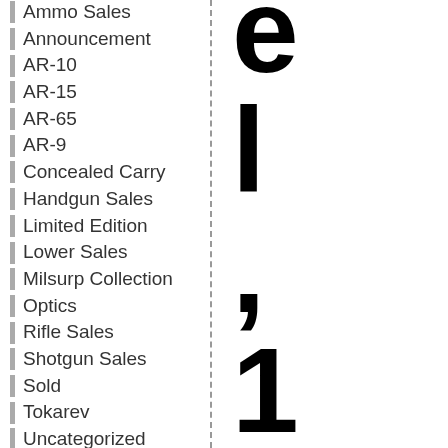Ammo Sales
Announcement
AR-10
AR-15
AR-65
AR-9
Concealed Carry
Handgun Sales
Limited Edition
Lower Sales
Milsurp Collection
Optics
Rifle Sales
Shotgun Sales
Sold
Tokarev
Uncategorized
Updated
Upper Sales
Meta
Log in
el, '17+ 1Round